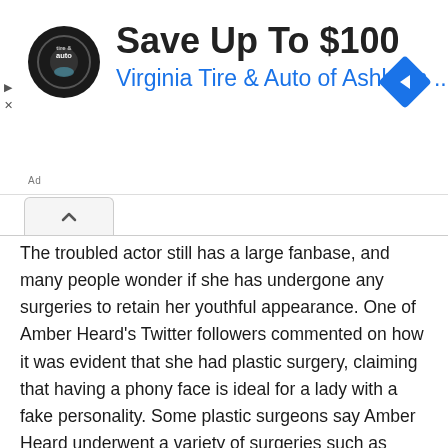[Figure (other): Advertisement banner for Virginia Tire & Auto of Ashburn showing logo, 'Save Up To $100' headline, and a blue diamond arrow icon]
The troubled actor still has a large fanbase, and many people wonder if she has undergone any surgeries to retain her youthful appearance. One of Amber Heard's Twitter followers commented on how it was evident that she had plastic surgery, claiming that having a phony face is ideal for a lady with a fake personality. Some plastic surgeons say Amber Heard underwent a variety of surgeries such as rhinoplasty, chin filler, lip filler, cheek implants, and so on.
Amber Heard is thought to have undergone rhinoplasty. Rhinoplasty, also known as a nose job, is a cosmetic surgery treatment that alters the shape of the nose. When